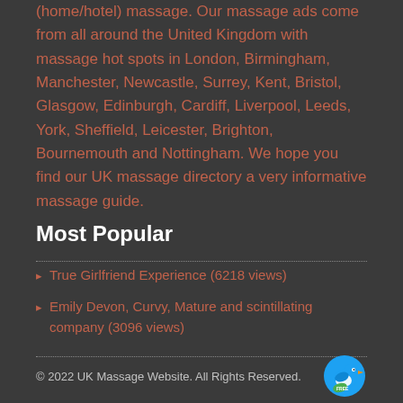(home/hotel) massage. Our massage ads come from all around the United Kingdom with massage hot spots in London, Birmingham, Manchester, Newcastle, Surrey, Kent, Bristol, Glasgow, Edinburgh, Cardiff, Liverpool, Leeds, York, Sheffield, Leicester, Brighton, Bournemouth and Nottingham. We hope you find our UK massage directory a very informative massage guide.
Most Popular
True Girlfriend Experience (6218 views)
Emily Devon, Curvy, Mature and scintillating company (3096 views)
© 2022 UK Massage Website. All Rights Reserved.